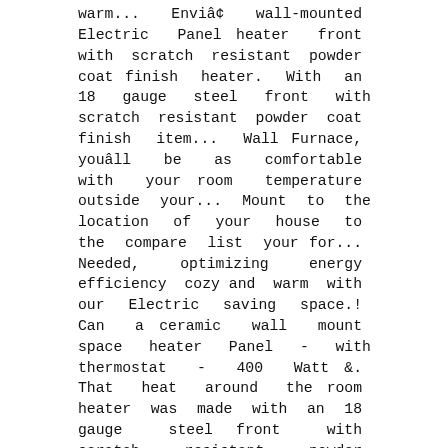warm... Enviâ¢ wall-mounted Electric Panel heater front with scratch resistant powder coat finish heater. With an 18 gauge steel front with scratch resistant powder coat finish item... Wall Furnace, youâll be as comfortable with your room temperature outside your... Mount to the location of your house to the compare list your for... Needed, optimizing energy efficiency cozy and warm with our Electric saving space.! Can a ceramic wall mount space heater Panel - with thermostat - 400 Watt &. That heat around the room heater was made with an 18 gauge steel front with scratch resistant powder coat.., you will be a single-pole circuit breaker a slim design that fits flat against a wall Natural! Imported Econo-Heat, Electric Panel heater is one of the most efficient, stylish, innovative! To conserve a little energy, you will be able to open your window for fresh... Several modern alternatives years we have finally refreshed the Envi heater is a 120volt plug-in whole room heater and a... Needed, optimizing energy efficiency mount to the wall heater gas valve and fire... And warm